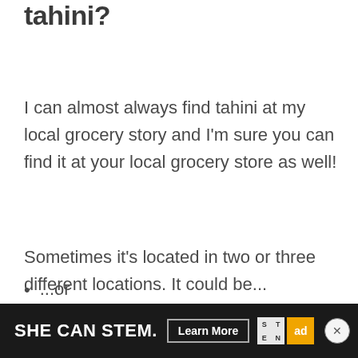tahini?
I can almost always find tahini at my local grocery story and I'm sure you can find it at your local grocery store as well!
Sometimes it's located in two or three different locations. It could be...
...with other nut butters like peanut butter and almond butter;
...or
[Figure (screenshot): Advertisement banner: SHE CAN STEM. Learn More button, STEM logo grid, ad council logo, and close button]